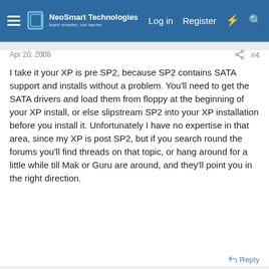NeoSmart Technologies — Log in  Register
Apr 20, 2008  #4
I take it your XP is pre SP2, because SP2 contains SATA support and installs without a problem. You'll need to get the SATA drivers and load them from floppy at the beginning of your XP install, or else slipstream SP2 into your XP installation before you install it. Unfortunately I have no expertise in that area, since my XP is post SP2, but if you search round the forums you'll find threads on that topic, or hang around for a little while till Mak or Guru are around, and they'll point you in the right direction.
Reply
jd5443uk
Member
Apr 21, 2008  #5